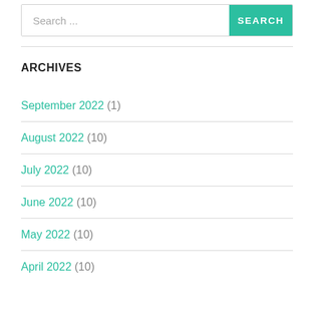Search ...
ARCHIVES
September 2022 (1)
August 2022 (10)
July 2022 (10)
June 2022 (10)
May 2022 (10)
April 2022 (10)